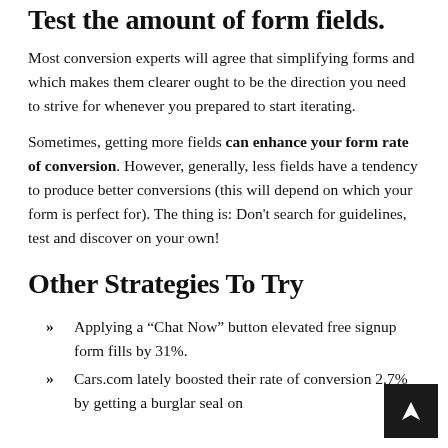Test the amount of form fields.
Most conversion experts will agree that simplifying forms and which makes them clearer ought to be the direction you need to strive for whenever you prepared to start iterating.
Sometimes, getting more fields can enhance your form rate of conversion. However, generally, less fields have a tendency to produce better conversions (this will depend on which your form is perfect for). The thing is: Don't search for guidelines, test and discover on your own!
Other Strategies To Try
Applying a “Chat Now” button elevated free signup form fills by 31%.
Cars.com lately boosted their rate of conversion 2.7% by getting a burglar seal on